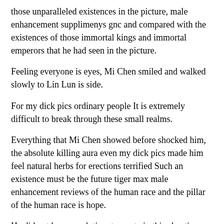those unparalleled existences in the picture, male enhancement supplimenys gnc and compared with the existences of those immortal kings and immortal emperors that he had seen in the picture.
Feeling everyone is eyes, Mi Chen smiled and walked slowly to Lin Lun is side.
For my dick pics ordinary people It is extremely difficult to break through these small realms.
Everything that Mi Chen showed before shocked him, the absolute killing aura even my dick pics made him feel natural herbs for erections terrified Such an existence must be the future tiger max male enhancement reviews of the human race and the pillar of the human race is hope.
He did not have much time to waste in this chaotic world.He did not have that terrifying aura, and he did not even exude his unparalleled aura, but on his body, there were imprints of the times, a terrifying aura.
Everyone looked at the direction from which the voice came, and those who were slightly angry before were completely silent.
For a moment, when all this was connected in series, Mi Chen